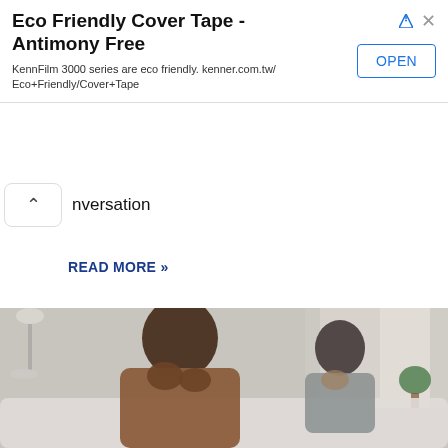[Figure (other): Advertisement banner for Eco Friendly Cover Tape - Antimony Free by KennFilm 3000 series. kenner.com.tw/Eco+Friendly/Cover+Tape. Has OPEN button and ad icons.]
nversation
READ MORE »
[Figure (photo): Two people sitting apart on a couch in a bright room, both looking distressed with hands near their faces. One in a brown sweater in the foreground, one in a gray top in the background near a window with curtains and a plant.]